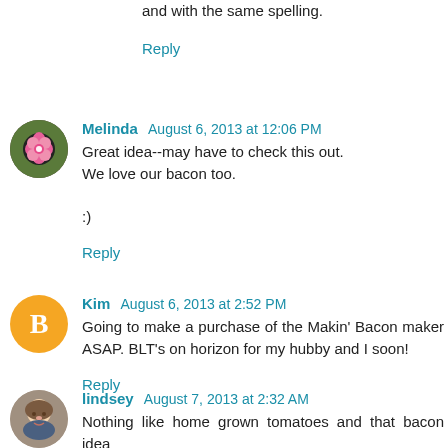and with the same spelling.
Reply
Melinda August 6, 2013 at 12:06 PM
Great idea--may have to check this out.
We love our bacon too.

:)
Reply
Kim August 6, 2013 at 2:52 PM
Going to make a purchase of the Makin' Bacon maker ASAP. BLT's on horizon for my hubby and I soon!
Reply
lindsey August 7, 2013 at 2:32 AM
Nothing like home grown tomatoes and that bacon idea